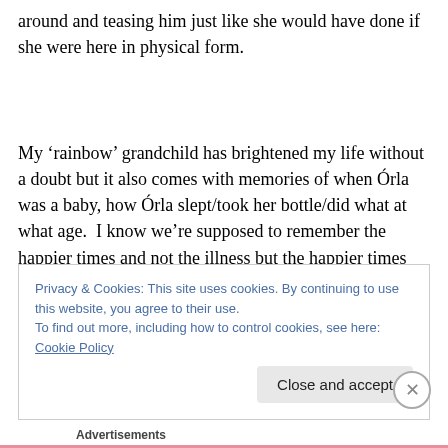around and teasing him just like she would have done if she were here in physical form.
My ‘rainbow’ grandchild has brightened my life without a doubt but it also comes with memories of when Órla was a baby, how Órla slept/took her bottle/did what at what age.  I know we’re supposed to remember the happier times and not the illness but the happier times with Órla are
Privacy & Cookies: This site uses cookies. By continuing to use this website, you agree to their use.
To find out more, including how to control cookies, see here: Cookie Policy
Close and accept
Advertisements